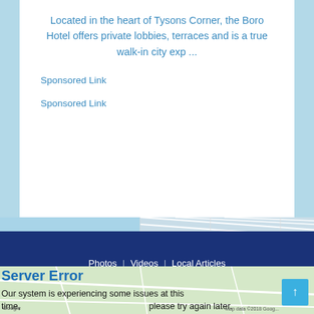Located in the heart of Tysons Corner, the Boro Hotel offers private lobbies, terraces and is a true walk-in city exp ...
Sponsored Link
Sponsored Link
[Figure (map): Map background strip showing street map tiles]
Photos | Videos | Local Articles
© 2022 Hello Erie - All Rights Reserved.
Privacy Policy | Terms & Conditions | Contact Us
[Figure (map): Map background at bottom of page]
Server Error
Our system is experiencing some issues at this time, please try again later.